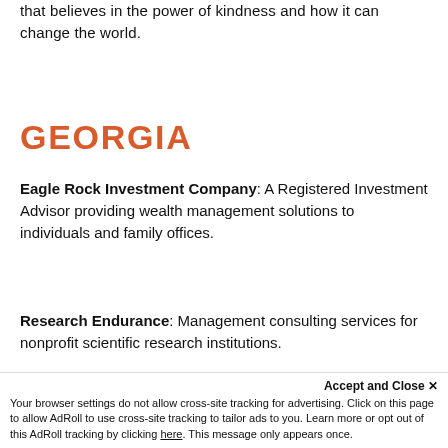that believes in the power of kindness and how it can change the world.
GEORGIA
Eagle Rock Investment Company: A Registered Investment Advisor providing wealth management solutions to individuals and family offices.
Research Endurance: Management consulting services for nonprofit scientific research institutions.
Accept and Close ✕
Your browser settings do not allow cross-site tracking for advertising. Click on this page to allow AdRoll to use cross-site tracking to tailor ads to you. Learn more or opt out of this AdRoll tracking by clicking here. This message only appears once.